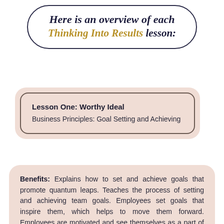Here is an overview of each Thinking Into Results lesson:
Lesson One: Worthy Ideal
Business Principles: Goal Setting and Achieving
Benefits: Explains how to set and achieve goals that promote quantum leaps. Teaches the process of setting and achieving team goals. Employees set goals that inspire them, which helps to move them forward. Employees are motivated and see themselves as a part of something bigger.